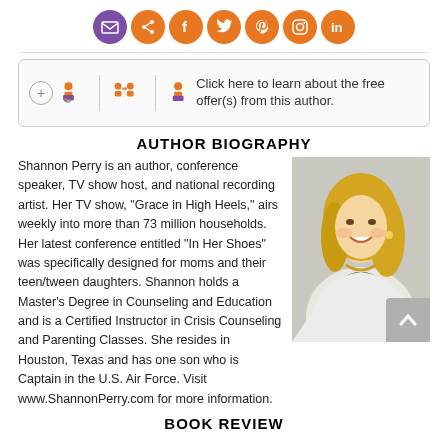[Figure (infographic): Row of circular social media icons: mail (purple), share (orange), Facebook (orange), Twitter (orange), Pinterest (orange), Instagram (orange), LinkedIn (orange)]
[Figure (infographic): Offer box with plus icon, two author-related icons, separator, small icon, and text: Click here to learn about the free offer(s) from this author.]
AUTHOR BIOGRAPHY
Shannon Perry is an author, conference speaker, TV show host, and national recording artist. Her TV show, "Grace in High Heels," airs weekly into more than 73 million households. Her latest conference entitled "In Her Shoes" was specifically designed for moms and their teen/tween daughters. Shannon holds a Master's Degree in Counseling and Education and is a Certified Instructor in Crisis Counseling and Parenting Classes. She resides in Houston, Texas and has one son who is Captain in the U.S. Air Force. Visit www.ShannonPerry.com for more information.
[Figure (photo): Photo of Shannon Perry, a smiling blonde woman in a white jacket seated against a light background]
BOOK REVIEW